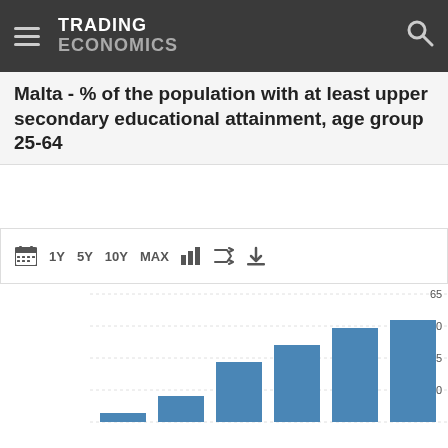TRADING ECONOMICS
Malta - % of the population with at least upper secondary educational attainment, age group 25-64
[Figure (bar-chart): Malta - % of the population with at least upper secondary educational attainment, age group 25-64]